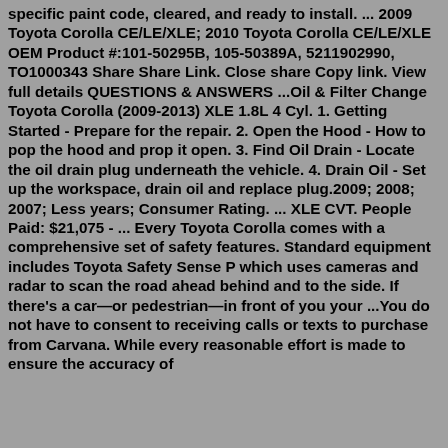specific paint code, cleared, and ready to install. ... 2009 Toyota Corolla CE/LE/XLE; 2010 Toyota Corolla CE/LE/XLE OEM Product #:101-50295B, 105-50389A, 5211902990, TO1000343 Share Share Link. Close share Copy link. View full details QUESTIONS & ANSWERS ...Oil & Filter Change Toyota Corolla (2009-2013) XLE 1.8L 4 Cyl. 1. Getting Started - Prepare for the repair. 2. Open the Hood - How to pop the hood and prop it open. 3. Find Oil Drain - Locate the oil drain plug underneath the vehicle. 4. Drain Oil - Set up the workspace, drain oil and replace plug.2009; 2008; 2007; Less years; Consumer Rating. ... XLE CVT. People Paid: $21,075 - ... Every Toyota Corolla comes with a comprehensive set of safety features. Standard equipment includes Toyota Safety Sense P which uses cameras and radar to scan the road ahead behind and to the side. If there's a car—or pedestrian—in front of you your ...You do not have to consent to receiving calls or texts to purchase from Carvana. While every reasonable effort is made to ensure the accuracy of